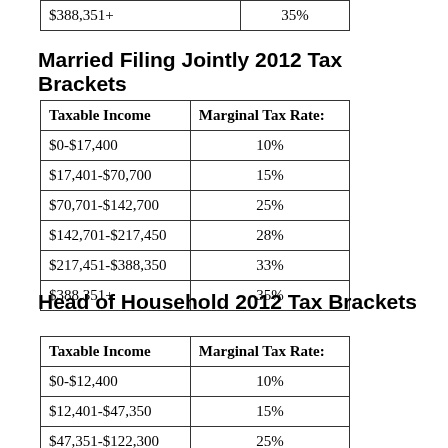| Taxable Income | Marginal Tax Rate: |
| --- | --- |
| $388,351+ | 35% |
Married Filing Jointly 2012 Tax Brackets
| Taxable Income | Marginal Tax Rate: |
| --- | --- |
| $0-$17,400 | 10% |
| $17,401-$70,700 | 15% |
| $70,701-$142,700 | 25% |
| $142,701-$217,450 | 28% |
| $217,451-$388,350 | 33% |
| $388,351+ | 35% |
Head of Household 2012 Tax Brackets
| Taxable Income | Marginal Tax Rate: |
| --- | --- |
| $0-$12,400 | 10% |
| $12,401-$47,350 | 15% |
| $47,351-$122,300 | 25% |
| $122,301-$198,050 | 28% |